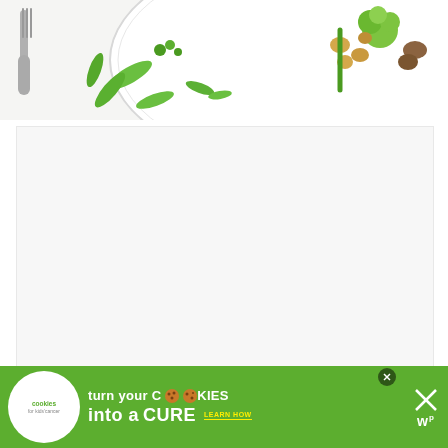[Figure (photo): Top-down view of a white decorative plate with a fork on the left side, containing a salad or vegetable dish with green vegetables including broccoli, snap peas, and other garnishes on a light background.]
[Figure (other): Light gray/white blank content area, likely a placeholder for additional content below the food photo.]
[Figure (infographic): Advertisement banner for 'Cookies for Kids Cancer' charity. Green background with white circular logo on left showing 'cookies for kids cancer'. Text reads 'turn your COOKIES into a CURE LEARN HOW' with cookie imagery replacing the O letters. A close button (X) appears in the top right area of the banner. A Mediavine (wp) logo appears in the bottom right corner.]